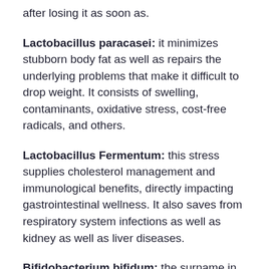after losing it as soon as.
Lactobacillus paracasei: it minimizes stubborn body fat as well as repairs the underlying problems that make it difficult to drop weight. It consists of swelling, contaminants, oxidative stress, cost-free radicals, and others.
Lactobacillus Fermentum: this stress supplies cholesterol management and immunological benefits, directly impacting gastrointestinal wellness. It also saves from respiratory system infections as well as kidney as well as liver diseases.
Bifidobacterium bifidum: the surname in this list